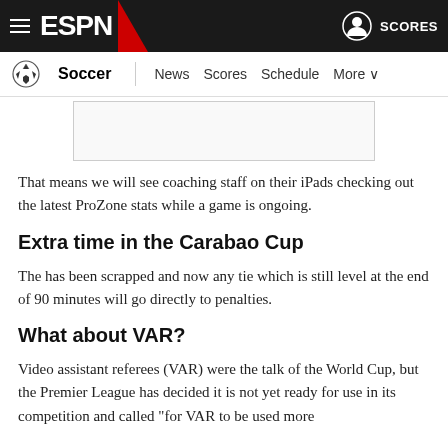ESPN Soccer — News  Scores  Schedule  More
[Figure (other): Advertisement placeholder rectangle]
That means we will see coaching staff on their iPads checking out the latest ProZone stats while a game is ongoing.
Extra time in the Carabao Cup
The has been scrapped and now any tie which is still level at the end of 90 minutes will go directly to penalties.
What about VAR?
Video assistant referees (VAR) were the talk of the World Cup, but the Premier League has decided it is not yet ready for use in its competition and called "for VAR to be used more